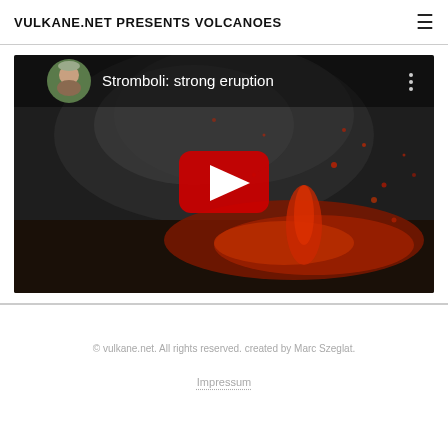VULKANE.NET PRESENTS VOLCANOES
[Figure (screenshot): YouTube video embed thumbnail showing a volcanic eruption at Stromboli with glowing red lava ejections against a dark smoky background. The video title reads 'Stromboli: strong eruption'. A circular avatar of a man is shown in the top-left corner. A red YouTube play button is centered over the image.]
© vulkane.net. All rights reserved. created by Marc Szeglat.
Impressum